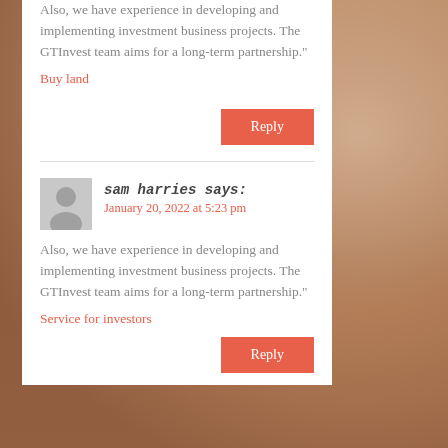Also, we have experience in developing and implementing investment business projects. The GTInvest team aims for a long-term partnership." Buy land
Reply
sam harries says: January 20, 2022 at 5:23 pm
Also, we have experience in developing and implementing investment business projects. The GTInvest team aims for a long-term partnership." Service for investors
Reply